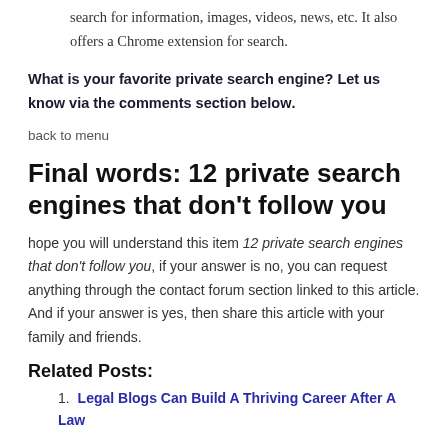search for information, images, videos, news, etc. It also offers a Chrome extension for search.
What is your favorite private search engine? Let us know via the comments section below.
back to menu
Final words: 12 private search engines that don't follow you
hope you will understand this item 12 private search engines that don't follow you, if your answer is no, you can request anything through the contact forum section linked to this article. And if your answer is yes, then share this article with your family and friends.
Related Posts:
Legal Blogs Can Build A Thriving Career After A Law